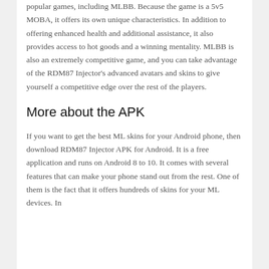popular games, including MLBB. Because the game is a 5v5 MOBA, it offers its own unique characteristics. In addition to offering enhanced health and additional assistance, it also provides access to hot goods and a winning mentality. MLBB is also an extremely competitive game, and you can take advantage of the RDM87 Injector's advanced avatars and skins to give yourself a competitive edge over the rest of the players.
More about the APK
If you want to get the best ML skins for your Android phone, then download RDM87 Injector APK for Android. It is a free application and runs on Android 8 to 10. It comes with several features that can make your phone stand out from the rest. One of them is the fact that it offers hundreds of skins for your ML devices. In